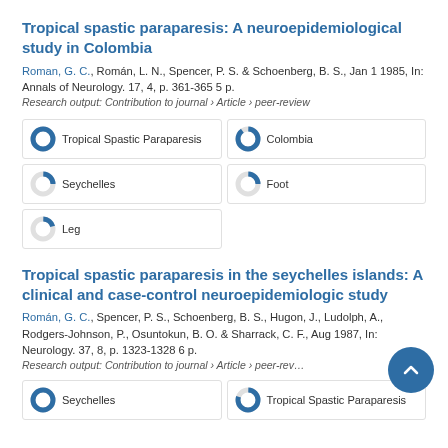Tropical spastic paraparesis: A neuroepidemiological study in Colombia
Roman, G. C., Román, L. N., Spencer, P. S. & Schoenberg, B. S., Jan 1 1985, In: Annals of Neurology. 17, 4, p. 361-365 5 p.
Research output: Contribution to journal › Article › peer-review
[Figure (infographic): Five keyword badges with donut chart icons: 100% Tropical Spastic Paraparesis, 90% Colombia, 25% Seychelles, 25% Foot, 20% Leg]
Tropical spastic paraparesis in the seychelles islands: A clinical and case-control neuroepidemiologic study
Román, G. C., Spencer, P. S., Schoenberg, B. S., Hugon, J., Ludolph, A., Rodgers-Johnson, P., Osuntokun, B. O. & Sharrack, C. F., Aug 1987, In: Neurology. 37, 8, p. 1323-1328 6 p.
Research output: Contribution to journal › Article › peer-review
[Figure (infographic): Keyword badges (partially visible): 100% Seychelles, 80% Tropical Spastic Paraparesis]